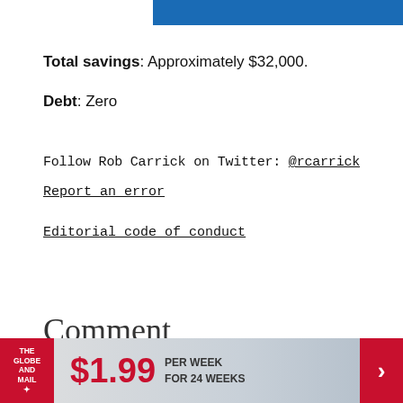[Figure (other): Blue horizontal bar at top of page]
Total savings: Approximately $32,000.
Debt: Zero
Follow Rob Carrick on Twitter: @rcarrick
Report an error
Editorial code of conduct
Comment
[Figure (other): The Globe and Mail advertisement banner: $1.99 PER WEEK FOR 24 WEEKS]